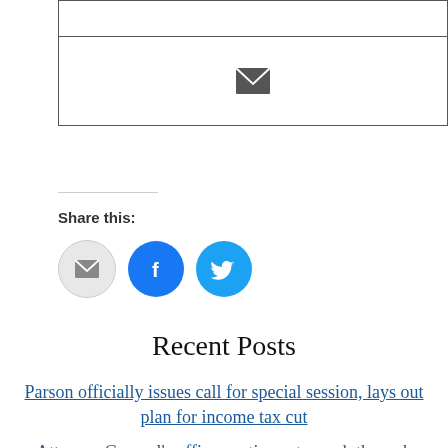[Figure (other): Email icon inside a bordered box]
Share this:
[Figure (other): Three share buttons: email (gray circle), Facebook (blue circle with f logo), Twitter (light blue circle with bird logo)]
Recent Posts
Parson officially issues call for special session, lays out plan for income tax cut
Attorney General's office continues to work through sexual assault kit backlog
Bean to run for Assistant Floor Leader
Hoflander aims to help generations understand each